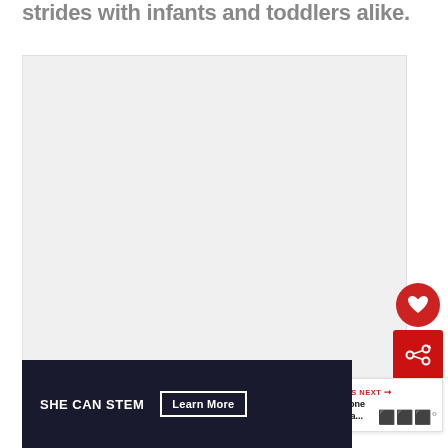strides with infants and toddlers alike.
[Figure (photo): Large image placeholder area with light gray background and three dot indicators at the bottom center. A red heart button and share button float on the right side.]
[Figure (screenshot): What's Next widget showing a thumbnail image and text 'Sky Zone Atlanta...' with arrow]
[Figure (infographic): SHE CAN STEM advertisement banner with dark background and Learn More button]
lll°